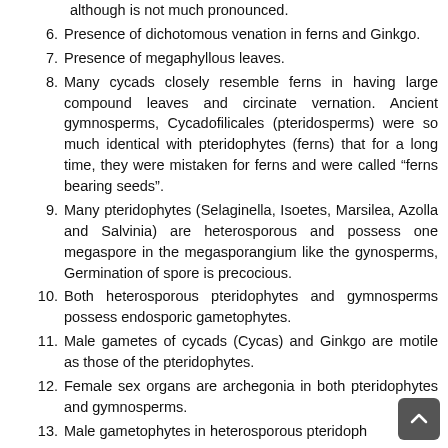although is not much pronounced.
6. Presence of dichotomous venation in ferns and Ginkgo.
7. Presence of megaphyllous leaves.
8. Many cycads closely resemble ferns in having large compound leaves and circinate vernation. Ancient gymnosperms, Cycadofilicales (pteridosperms) were so much identical with pteridophytes (ferns) that for a long time, they were mistaken for ferns and were called “ferns bearing seeds”.
9. Many pteridophytes (Selaginella, Isoetes, Marsilea, Azolla and Salvinia) are heterosporous and possess one megaspore in the megasporangium like the gynosperms, Germination of spore is precocious.
10. Both heterosporous pteridophytes and gymnosperms possess endosporic gametophytes.
11. Male gametes of cycads (Cycas) and Ginkgo are motile as those of the pteridophytes.
12. Female sex organs are archegonia in both pteridophytes and gymnosperms.
13. Male gametophytes in heterosporous pteridoph